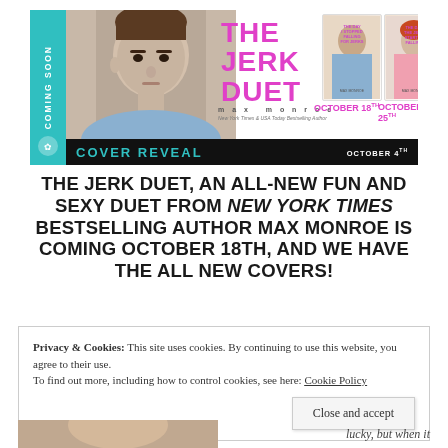[Figure (illustration): Promotional banner for 'The Jerk Duet' by Max Monroe. Features a man's photo on left, bold pink/magenta title text 'THE JERK DUET', two book covers showing dates October 18th and October 25th, and a black bar reading 'COVER REVEAL OCTOBER 4TH'. Teal 'COMING SOON' side strip on left edge.]
THE JERK DUET, AN ALL-NEW FUN AND SEXY DUET FROM NEW YORK TIMES BESTSELLING AUTHOR MAX MONROE IS COMING OCTOBER 18TH, AND WE HAVE THE ALL NEW COVERS!
Privacy & Cookies: This site uses cookies. By continuing to use this website, you agree to their use.
To find out more, including how to control cookies, see here: Cookie Policy